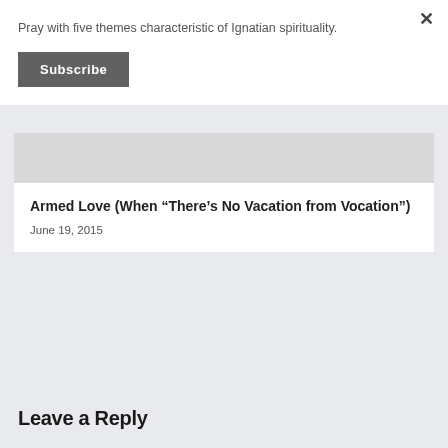Pray with five themes characteristic of Ignatian spirituality.
Subscribe
[Figure (screenshot): Gray placeholder image for article thumbnail]
Armed Love (When “There’s No Vacation from Vocation”)
June 19, 2015
Leave a Reply